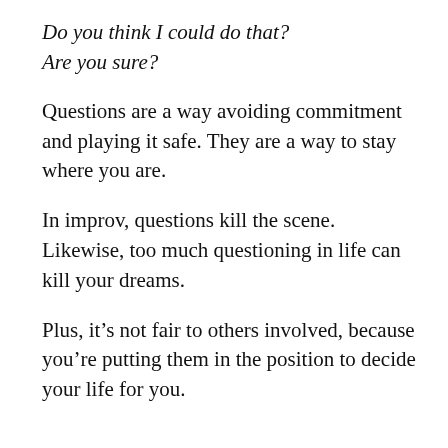Do you think I could do that?
Are you sure?
Questions are a way avoiding commitment and playing it safe. They are a way to stay where you are.
In improv, questions kill the scene. Likewise, too much questioning in life can kill your dreams.
Plus, it’s not fair to others involved, because you’re putting them in the position to decide your life for you.